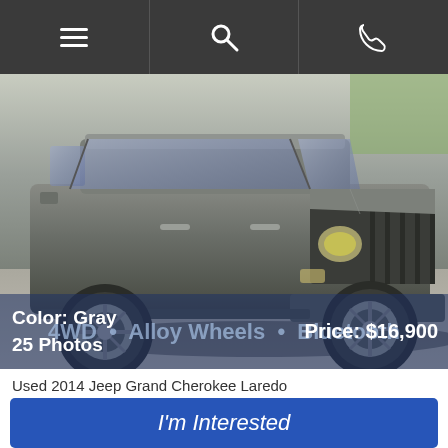Navigation bar with menu, search, and call icons
[Figure (photo): Front three-quarter view of a gray 2014 Jeep Grand Cherokee Laredo SUV parked on a gravel surface]
Color: Gray
25 Photos · Alloy Wheels · Bluetooth · 4WD
Price: $16,900
Used 2014 Jeep Grand Cherokee Laredo
I'm Interested
Vehicle Details
Directions   Hours   Favorites   Stock #102281